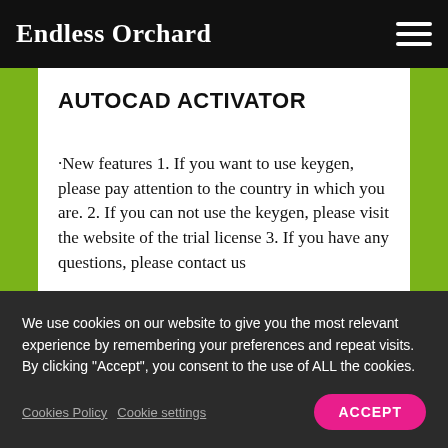Endless Orchard
AUTOCAD ACTIVATOR
·New features 1. If you want to use keygen, please pay attention to the country in which you are. 2. If you can not use the keygen, please visit the website of the trial license 3. If you have any questions, please contact us
We use cookies on our website to give you the most relevant experience by remembering your preferences and repeat visits. By clicking "Accept", you consent to the use of ALL the cookies.
Cookies Policy   Cookie settings   ACCEPT